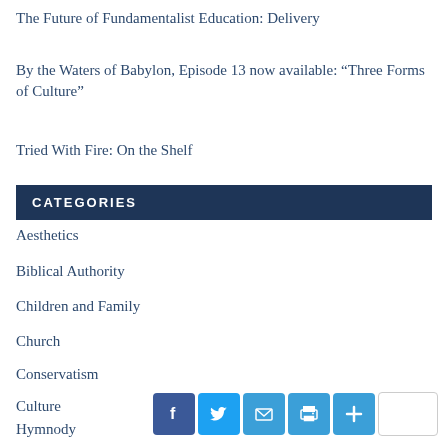The Future of Fundamentalist Education: Delivery
By the Waters of Babylon, Episode 13 now available: “Three Forms of Culture”
Tried With Fire: On the Shelf
CATEGORIES
Aesthetics
Biblical Authority
Children and Family
Church
Conservatism
Culture
Hymnody